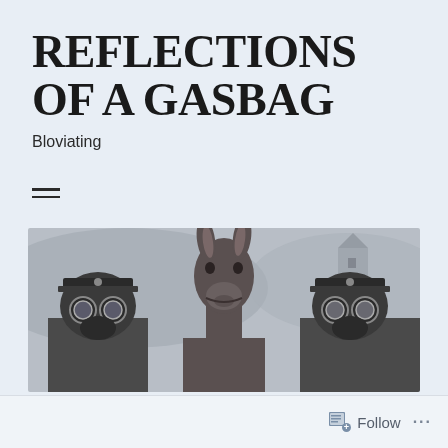REFLECTIONS OF A GASBAG
Bloviating
[Figure (photo): Black and white photograph of two soldiers wearing gas masks and military caps flanking a donkey in the center. The donkey's head is prominent. Background shows a fence and buildings. Historical WWI-era style photograph.]
Follow  ...